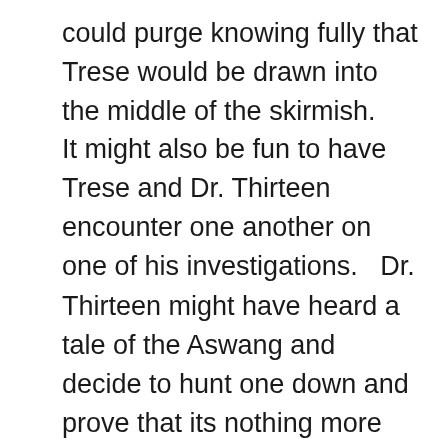could purge knowing fully that Trese would be drawn into the middle of the skirmish.
It might also be fun to have Trese and Dr. Thirteen encounter one another on one of his investigations.   Dr. Thirteen might have heard a tale of the Aswang and decide to hunt one down and prove that its nothing more than an undocumented species of animal.   He could be seeking Carlito to help him hunt one down while Trese was working in the background preventing him from being killed by the more vicious mystic creatures.